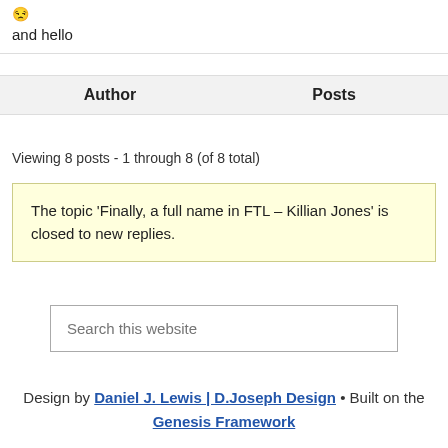[Figure (illustration): Small smiley/emoji face icon]
and hello
| Author | Posts |
| --- | --- |
Viewing 8 posts - 1 through 8 (of 8 total)
The topic ‘Finally, a full name in FTL – Killian Jones’ is closed to new replies.
Search this website
Design by Daniel J. Lewis | D.Joseph Design • Built on the Genesis Framework